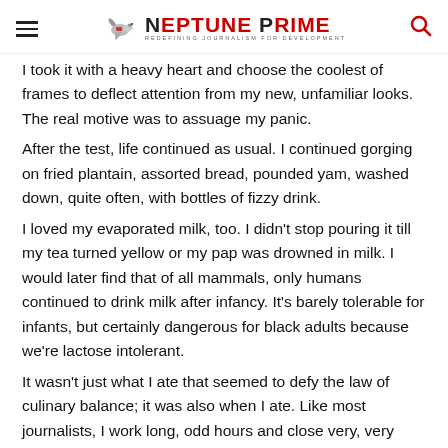Neptune Prime — Redefining Journalism for Development
I took it with a heavy heart and choose the coolest of frames to deflect attention from my new, unfamiliar looks. The real motive was to assuage my panic.
After the test, life continued as usual. I continued gorging on fried plantain, assorted bread, pounded yam, washed down, quite often, with bottles of fizzy drink.
I loved my evaporated milk, too. I didn't stop pouring it till my tea turned yellow or my pap was drowned in milk. I would later find that of all mammals, only humans continued to drink milk after infancy. It's barely tolerable for infants, but certainly dangerous for black adults because we're lactose intolerant.
It wasn't just what I ate that seemed to defy the law of culinary balance; it was also when I ate. Like most journalists, I work long, odd hours and close very, very late. There's hardly enough time in-between for decent meals.